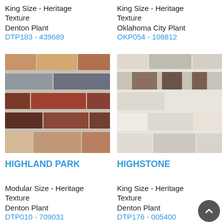King Size - Heritage Texture
Denton Plant
DTP183 - 439689
King Size - Heritage Texture
Oklahoma City Plant
OKP054 - 108812
[Figure (photo): Close-up photo of multi-colored brick wall with Heritage Texture in warm browns, reds and grays - Highland Park]
[Figure (photo): Close-up photo of light-colored stone/brick wall with Heritage Texture in cream and beige tones - Highstone]
HIGHLAND PARK
HIGHSTONE
Modular Size - Heritage Texture
Denton Plant
DTP010 - 709031
King Size - Heritage Texture
Denton Plant
DTP176 - 005400